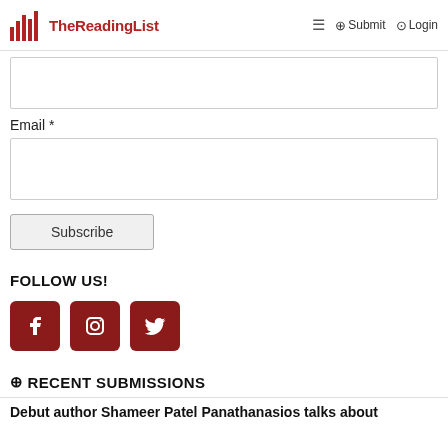TheReadingList | Subscribe | Login
Email *
Subscribe
FOLLOW US!
[Figure (other): Three social media icon buttons: Facebook, Instagram, Twitter — dark red square rounded icons with white symbols]
RECENT SUBMISSIONS
Debut author Shameer Patel Panathanasios talks about